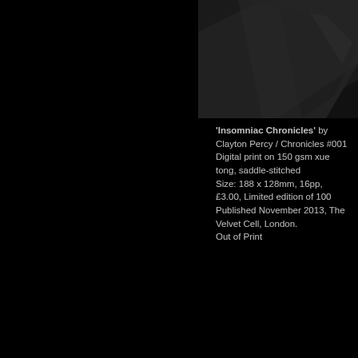[Figure (photo): Dark abstract photograph, partially visible in the upper right corner against a black background, showing dark grey geometric or angular shapes.]
'Insomniac Chronicles' by Clayton Percy / Chronicles #001 Digital print on 150 gsm xue tong, saddle-stitched Size: 188 x 128mm, 16pp, £3.00, Limited edition of 100 Published November 2013, The Velvet Cell, London. Out of Print